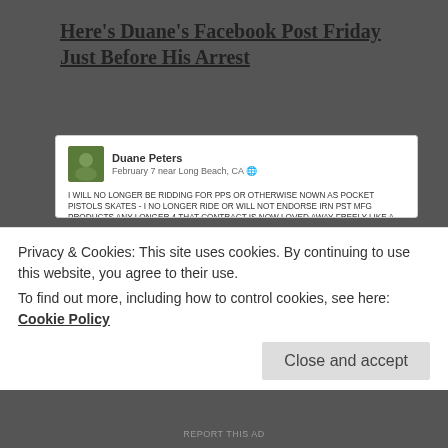Here's Duane's Facebook Post Friday Just Before His Arrest
[Figure (screenshot): Facebook post by Duane Peters dated February 7 near Long Beach, CA. Post text in all-caps reads: I WILL NO LONGER BE RIDDING FOR PPS Or OTHERWISE NOWN AS POCKET PISTOLS SKATES - I NO LONGER RIDE OR WILL NOT ENDORSE IRN PST MFG PRODUCTS ANY LONGER 4 that contract is now LOVED AWAY FREELY LIKE A WHEELY ALSO GOOD BY JOKER SKATE SHOP -NHS -INDEPENDENT TRUCKS VISION STREETWEAR - I WILL NOT HAVE ANYTHING TO DO WITH VANS OR NIKE PRODUCTS OR RED BULL -DEAD BOY SHOES ( AH-HA ) SKULLCANDY PRODUCTS - OJ WHEELS - STANCE SOCKS - GRANTS POMADE - GOOD BY TO THE -CHRIS WALTERS BOOK DEAL WITH LOVE THANK YOU - I HAVE NO JOBS AT ALL AND I FREE MY SELF COMPLETLY FROM ALL OF YOUR MONEY AND OR CONTRACT TYIES FROM THIS MOMENT ON I REFUSE DIRTY MONOPOLY MONEY GOOD BY PHONEY WOES LIES AND TAKE AWAY ALL OF YOUR NON WORKING WAYS OF THE NON LIGHT ! I CHOOSE THE LIGHT OF MY OWN UNDERSTANDING WITH PURE JOY NO FEAR NO SHAME NO TIES THAT BIND ME TO THIS WONDERFUL WORLD I LOVE SO MUCH THANK YOU ALL I WILL NOT BE GOING ANYWHERE X X EPT TO SKATE FOR REAL AGAINST NO-ONE FOR WE ARE ALL ONE LOVE THANK YOU SO MUCH EARTHA FOR ALL THE SUPPORT YOU'VE GIVIN ME THRU ALL MY LIFE AS OF YOU AND SO MUCH HEALTHIER THAN]
Privacy & Cookies: This site uses cookies. By continuing to use this website, you agree to their use.
To find out more, including how to control cookies, see here: Cookie Policy
Close and accept